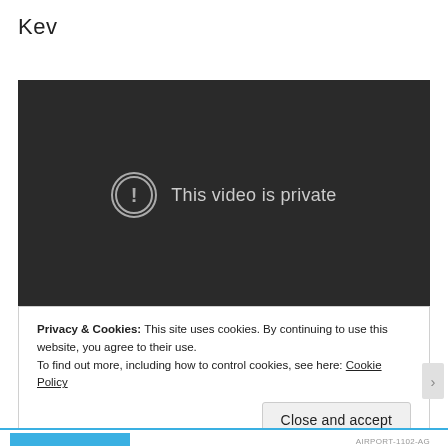Kev
[Figure (screenshot): A dark video player showing the message 'This video is private' with a circle exclamation icon on a dark background.]
Privacy & Cookies: This site uses cookies. By continuing to use this website, you agree to their use.
To find out more, including how to control cookies, see here: Cookie Policy
Close and accept